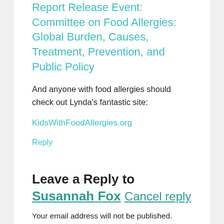Report Release Event: Committee on Food Allergies: Global Burden, Causes, Treatment, Prevention, and Public Policy
And anyone with food allergies should check out Lynda's fantastic site:
KidsWithFoodAllergies.org
Reply
Leave a Reply to Susannah Fox Cancel reply
Your email address will not be published. Required fields are marked *